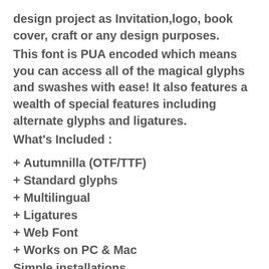design project as Invitation,logo, book cover, craft or any design purposes.
This font is PUA encoded which means you can access all of the magical glyphs and swashes with ease! It also features a wealth of special features including alternate glyphs and ligatures.
What's Included :
+ Autumnilla (OTF/TTF)
+ Standard glyphs
+ Multilingual
+ Ligatures
+ Web Font
+ Works on PC & Mac
Simple installations